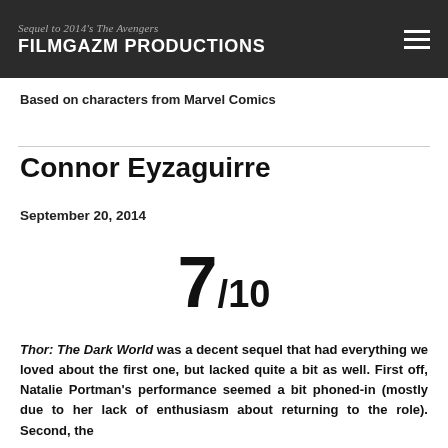FILMGAZM PRODUCTIONS
Based on characters from Marvel Comics
Connor Eyzaguirre
September 20, 2014
7/10
Thor: The Dark World was a decent sequel that had everything we loved about the first one, but lacked quite a bit as well. First off, Natalie Portman's performance seemed a bit phoned-in (mostly due to her lack of enthusiasm about returning to the role). Second, the